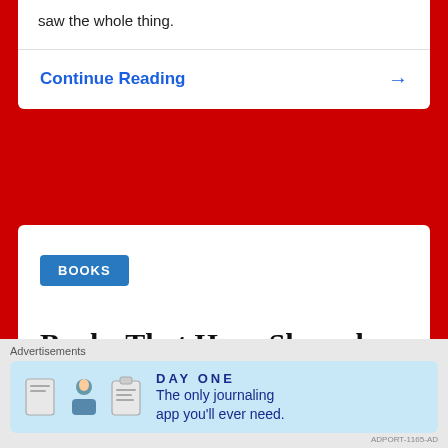saw the whole thing.
Continue Reading →
BOOKS
Books That Have Shaped Me
April 4, 2022   9 Comments
Advertisements
[Figure (screenshot): Day One journaling app advertisement banner: 'The only journaling app you'll ever need.']